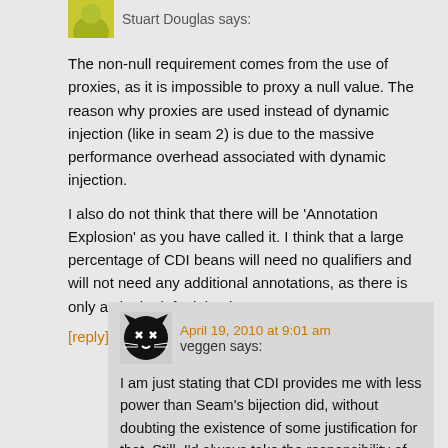[Figure (photo): Avatar image of Stuart Douglas, partly cropped at top]
Stuart Douglas says:
The non-null requirement comes from the use of proxies, as it is impossible to proxy a null value. The reason why proxies are used instead of dynamic injection (like in seam 2) is due to the massive performance overhead associated with dynamic injection.
I also do not think that there will be 'Annotation Explosion' as you have called it. I think that a large percentage of CDI beans will need no qualifiers and will not need any additional annotations, as there is only a single default impl.
[reply]
[Figure (illustration): Avatar image of veggen, a black cat face with X eyes]
April 19, 2010 at 9:01 am
veggen says:
I am just stating that CDI provides me with less power than Seam's bijection did, without doubting the existence of some justification for that. Still, I'd always take the responsibility of